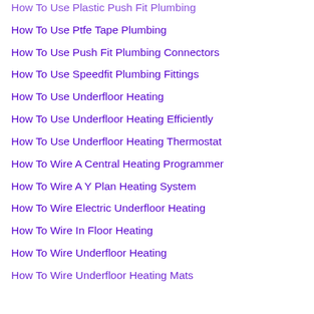How To Use Plastic Push Fit Plumbing
How To Use Ptfe Tape Plumbing
How To Use Push Fit Plumbing Connectors
How To Use Speedfit Plumbing Fittings
How To Use Underfloor Heating
How To Use Underfloor Heating Efficiently
How To Use Underfloor Heating Thermostat
How To Wire A Central Heating Programmer
How To Wire A Y Plan Heating System
How To Wire Electric Underfloor Heating
How To Wire In Floor Heating
How To Wire Underfloor Heating
How To Wire Underfloor Heating Mats